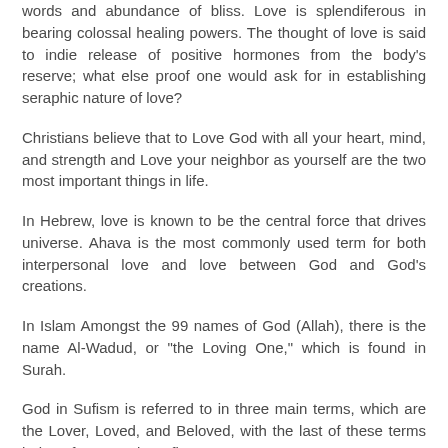words and abundance of bliss. Love is splendiferous in bearing colossal healing powers. The thought of love is said to indie release of positive hormones from the body's reserve; what else proof one would ask for in establishing seraphic nature of love?
Christians believe that to Love God with all your heart, mind, and strength and Love your neighbor as yourself are the two most important things in life.
In Hebrew, love is known to be the central force that drives universe. Ahava is the most commonly used term for both interpersonal love and love between God and God's creations.
In Islam Amongst the 99 names of God (Allah), there is the name Al-Wadud, or "the Loving One," which is found in Surah.
God in Sufism is referred to in three main terms, which are the Lover, Loved, and Beloved, with the last of these terms being often seen in Sufi poetry.